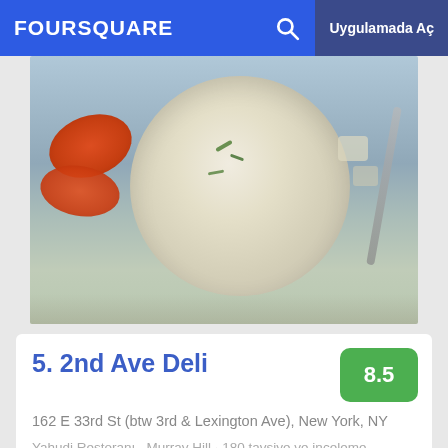FOURSQUARE  Uygulamada Aç
[Figure (photo): A bowl of soup with a large matzo ball, carrots, and other ingredients visible, with a spoon]
5. 2nd Ave Deli
162 E 33rd St (btw 3rd & Lexington Ave), New York, NY
Yahudi Restoranı · Murray Hill · 180 tavsiye ve inceleme
[Figure (photo): A deli sandwich with meat and lettuce on bread, partially visible at the bottom of the page]